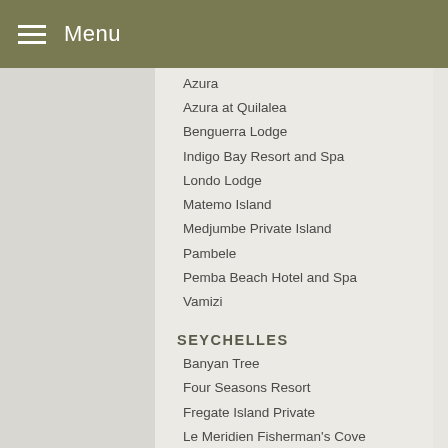Menu
Azura
Azura at Quilalea
Benguerra Lodge
Indigo Bay Resort and Spa
Londo Lodge
Matemo Island
Medjumbe Private Island
Pambele
Pemba Beach Hotel and Spa
Vamizi
SEYCHELLES
Banyan Tree
Four Seasons Resort
Fregate Island Private
Le Meridien Fisherman's Cove
North Island
Raffles Praslin
SLEEP UNDER THE AFRICA SKIES.
SOUTH AFRICA SAFARIS
4 Nights Kgaglagadi Safari
Cape Town,Phinda,The Outpost Safari
Eastern Cape Pumba Safari Lodge